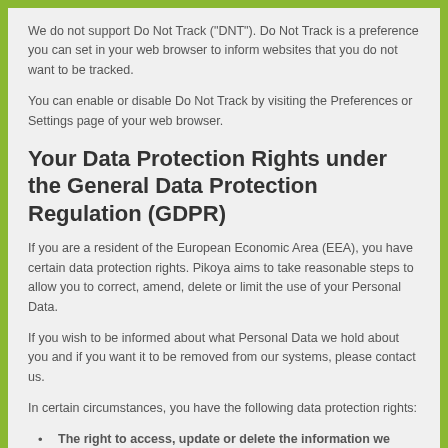We do not support Do Not Track ("DNT"). Do Not Track is a preference you can set in your web browser to inform websites that you do not want to be tracked.
You can enable or disable Do Not Track by visiting the Preferences or Settings page of your web browser.
Your Data Protection Rights under the General Data Protection Regulation (GDPR)
If you are a resident of the European Economic Area (EEA), you have certain data protection rights. Pikoya aims to take reasonable steps to allow you to correct, amend, delete or limit the use of your Personal Data.
If you wish to be informed about what Personal Data we hold about you and if you want it to be removed from our systems, please contact us.
In certain circumstances, you have the following data protection rights:
The right to access, update or delete the information we have on you. Whenever made possible, you can access, update or request deletion of your Personal Data directly within your account settings section. If you are unable to perform these actions yourself, please contact us to assist you.